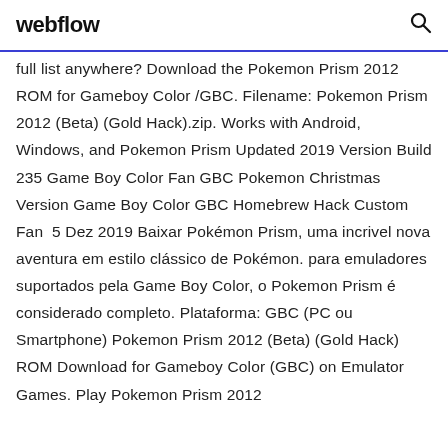webflow
full list anywhere? Download the Pokemon Prism 2012 ROM for Gameboy Color /GBC. Filename: Pokemon Prism 2012 (Beta) (Gold Hack).zip. Works with Android, Windows, and Pokemon Prism Updated 2019 Version Build 235 Game Boy Color Fan GBC Pokemon Christmas Version Game Boy Color GBC Homebrew Hack Custom Fan  5 Dez 2019 Baixar Pokémon Prism, uma incrivel nova aventura em estilo clássico de Pokémon. para emuladores suportados pela Game Boy Color, o Pokemon Prism é considerado completo. Plataforma: GBC (PC ou Smartphone) Pokemon Prism 2012 (Beta) (Gold Hack) ROM Download for Gameboy Color (GBC) on Emulator Games. Play Pokemon Prism 2012